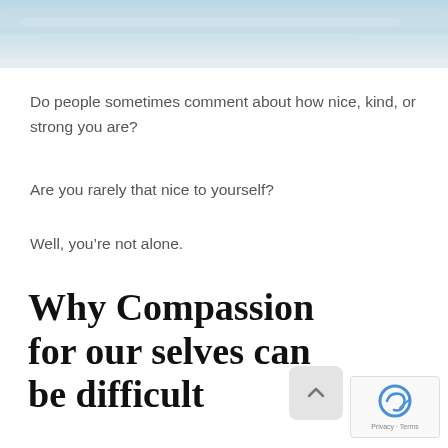[Figure (photo): Blue sky with soft clouds — decorative header banner image]
Do people sometimes comment about how nice, kind, or strong you are?
Are you rarely that nice to yourself?
Well, you’re not alone.
Why Compassion for our selves can be difficult